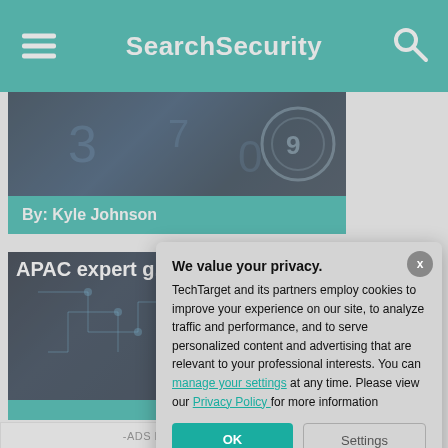SearchSecurity
[Figure (screenshot): Dark themed image with numbers and a circular element, part of a cybersecurity article card]
By: Kyle Johnson
APAC expert g...
[Figure (screenshot): Dark blue circuit board themed image for APAC expert guide article]
-ADS BY GOOGLE
We value your privacy. TechTarget and its partners employ cookies to improve your experience on our site, to analyze traffic and performance, and to serve personalized content and advertising that are relevant to your professional interests. You can manage your settings at any time. Please view our Privacy Policy for more information